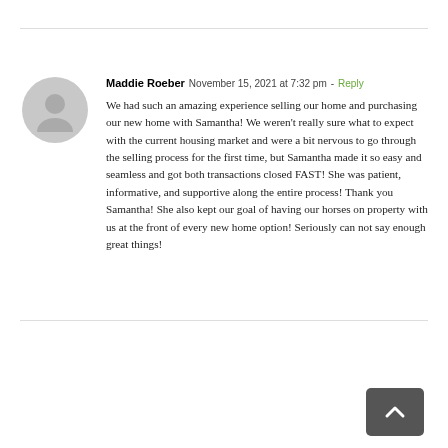Maddie Roeber  November 15, 2021 at 7:32 pm - Reply
We had such an amazing experience selling our home and purchasing our new home with Samantha! We weren't really sure what to expect with the current housing market and were a bit nervous to go through the selling process for the first time, but Samantha made it so easy and seamless and got both transactions closed FAST! She was patient, informative, and supportive along the entire process! Thank you Samantha! She also kept our goal of having our horses on property with us at the front of every new home option! Seriously can not say enough great things!
Robert Miller  November 1, 2021 at 11:29 am - Reply
Dana was very professional in handling a very different situation!! I can't thank her enough 👍